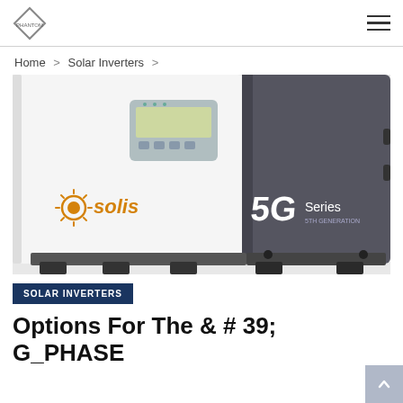Home > Solar Inverters >
[Figure (photo): Solis 5G Series solar inverter — white left panel with LCD display and control buttons, dark gray right panel with '5G Series' branding. The unit sits on a mounting frame against a white background.]
SOLAR INVERTERS
Options For The & # 39; G_PHASE